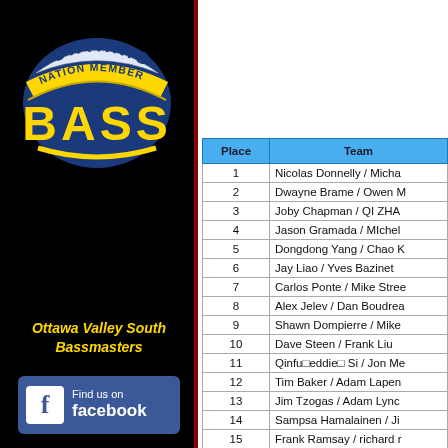[Figure (logo): Ontario Bass Nation Member logo — blue arched banner with 'ONTARIO' text, yellow arc text 'NATION MEMBER', and 'BASS' in large yellow letters on dark blue background]
Ottawa Valley South Bassmasters
[Figure (logo): Find us on Facebook button — blue rectangle with Facebook 'f' icon and text 'Find us on facebook']
| Place | Team |
| --- | --- |
| 1 | Nicolas Donnelly / Micha... |
| 2 | Dwayne Brame / Owen M... |
| 3 | Joby Chapman / QI ZHA... |
| 4 | Jason Gramada / MIchel... |
| 5 | Dongdong Yang / Chao K... |
| 6 | Jay Liao / Yves Bazinet |
| 7 | Carlos Ponte / Mike Stree... |
| 8 | Alex Jelev / Dan Boudrea... |
| 9 | Shawn Dompierre / Mike... |
| 10 | Dave Steen / Frank Liu |
| 11 | Qinfu□eddie□ Si / Jon Me... |
| 12 | Tim Baker / Adam Lapen... |
| 13 | Jim Tzogas / Adam Lync... |
| 14 | Sampsa Hamalainen / Ji... |
| 15 | Frank Ramsay / richard r... |
| 16 | Alex cui / Spencer Tiede... |
| 17 | Steven Tessier / Tia Mas... |